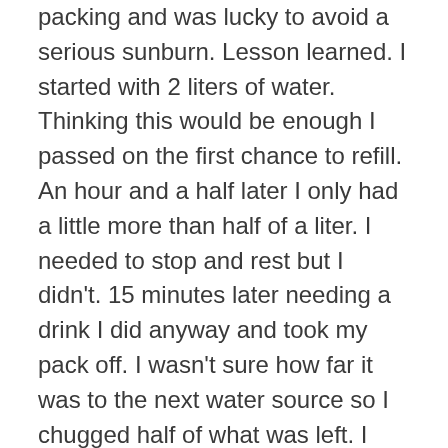packing and was lucky to avoid a serious sunburn. Lesson learned. I started with 2 liters of water. Thinking this would be enough I passed on the first chance to refill. An hour and a half later I only had a little more than half of a liter. I needed to stop and rest but I didn't. 15 minutes later needing a drink I did anyway and took my pack off. I wasn't sure how far it was to the next water source so I chugged half of what was left. I checked my guide and estimated in a half mile I could refill my 2 bottles. Hiking on I continued to climb another 250 ft. where I found a small stream with plenty of good cold water. I rested and ate an energy bar. I still had almost a mile of climbing and 3 miles until Cable Gap Shelter where I would spend the night. Which also would be my next chance to get water. It doesn't sound like much but reaching that water, plus the little break and snack helped my confidence and